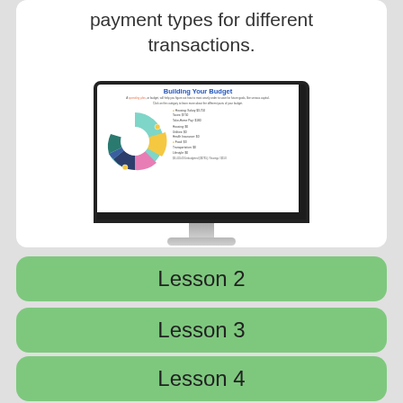payment types for different transactions.
[Figure (screenshot): Desktop monitor displaying a 'Building Your Budget' interactive lesson with a donut/pie chart and legend showing budget categories.]
Lesson 2
Lesson 3
Lesson 4